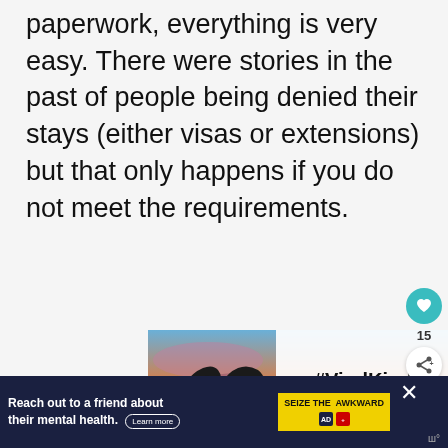paperwork, everything is very easy. There were stories in the past of people being denied their stays (either visas or extensions) but that only happens if you do not meet the requirements.
[Figure (infographic): Advertisement banner with hands forming a heart shape against a sunset sky background, with text '#ViralKindness' and a close button]
[Figure (infographic): Dark blue bottom banner ad: 'Reach out to a friend about their mental health. Learn more' with SEIZE THE AWKWARD logo and close button]
[Figure (infographic): UI elements: teal heart like button, count '15', and white share button on right side]